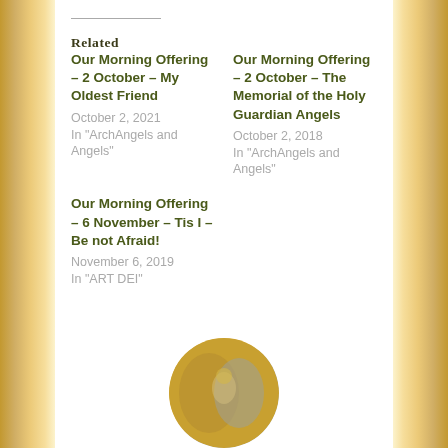Related
Our Morning Offering – 2 October – My Oldest Friend
October 2, 2021
In "ArchAngels and Angels"
Our Morning Offering – 2 October – The Memorial of the Holy Guardian Angels
October 2, 2018
In "ArchAngels and Angels"
Our Morning Offering – 6 November – Tis I – Be not Afraid!
November 6, 2019
In "ART DEI"
[Figure (photo): Circular cropped image showing a golden and grey religious or angelic illustration, partially visible at the bottom of the page.]